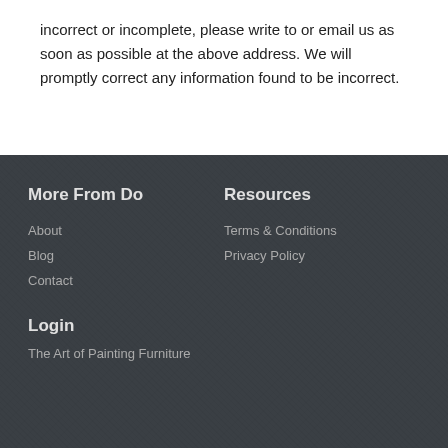incorrect or incomplete, please write to or email us as soon as possible at the above address. We will promptly correct any information found to be incorrect.
More From Do
Resources
About
Blog
Contact
Terms & Conditions
Privacy Policy
Login
The Art of Painting Furniture